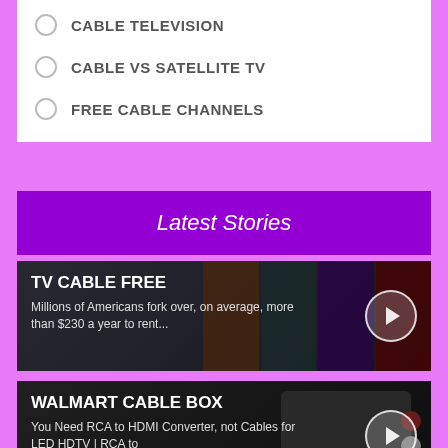CABLE TELEVISION
CABLE VS SATELLITE TV
FREE CABLE CHANNELS
Latest Stories
[Figure (screenshot): TV CABLE FREE story card with dark background showing streaming service thumbnails. Title: TV CABLE FREE. Description: Millions of Americans fork over, on average, more than $230 a year to rent...]
[Figure (screenshot): WALMART CABLE BOX story card with dark background showing RCA to HDMI converter device. Title: WALMART CABLE BOX. Description: You Need RCA to HDMI Converter, not Cables for LED HDTV | RCA to]
[Figure (screenshot): DIRECTV CABLE story card with dark background. Title: DIRECTV "CABLE. Description: In the campaign, cable networks attempt to take down the tycoon that is...]